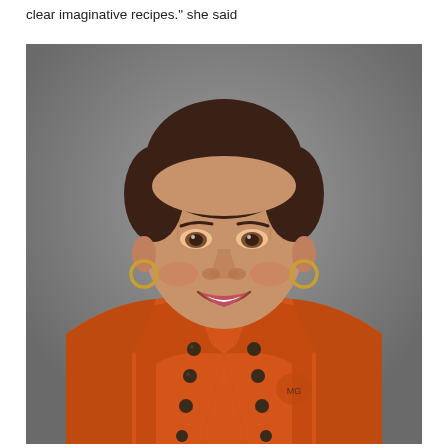clear imaginative recipes." she said
[Figure (photo): Portrait photo of a woman with short curly brown hair, smiling, wearing an orange chef's jacket with dark trim and buttons, and gold hoop earrings. Gray studio background.]